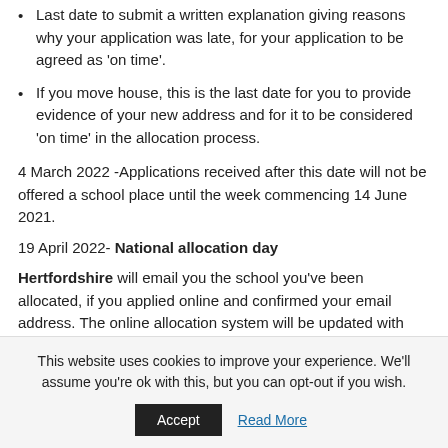Last date to submit a written explanation giving reasons why your application was late, for your application to be agreed as 'on time'.
If you move house, this is the last date for you to provide evidence of your new address and for it to be considered 'on time' in the allocation process.
4 March 2022 -Applications received after this date will not be offered a school place until the week commencing 14 June 2021.
19 April 2022- National allocation day
Hertfordshire will email you the school you've been allocated, if you applied online and confirmed your email address. The online allocation system will be updated with
This website uses cookies to improve your experience. We'll assume you're ok with this, but you can opt-out if you wish.
Accept   Read More